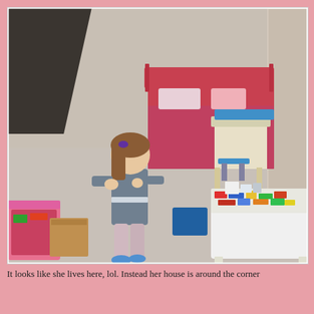[Figure (photo): A young girl with brown hair and a purple hair clip stands in a children's bedroom. She is wearing a grey long-sleeve shirt and light pink pants with blue slippers. To the left is a pink toy storage bin and a cardboard box. Behind her is a red/pink metal bed with a red patterned comforter. To the right is a white Lego table covered in colorful Lego bricks. In the background is a small blue and white children's desk with a chair, and a red storage bin. The room has light grey carpet and beige walls.]
It looks like she lives here, lol. Instead her house is around the corner